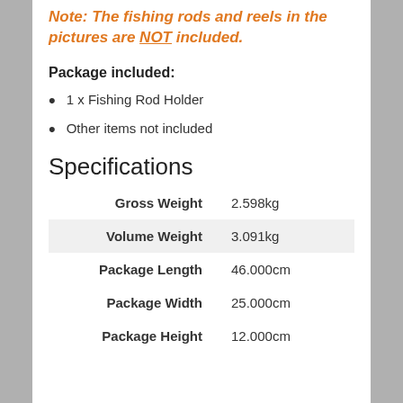Note: The fishing rods and reels in the pictures are NOT included.
Package included:
1 x Fishing Rod Holder
Other items not included
Specifications
|  |  |
| --- | --- |
| Gross Weight | 2.598kg |
| Volume Weight | 3.091kg |
| Package Length | 46.000cm |
| Package Width | 25.000cm |
| Package Height | 12.000cm |